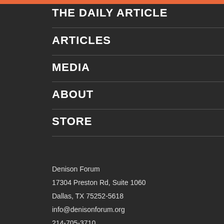THE DAILY ARTICLE
ARTICLES
MEDIA
ABOUT
STORE
Denison Forum
17304 Preston Rd, Suite 1060
Dallas, TX 75252-5618
info@denisonforum.org
214-705-3710